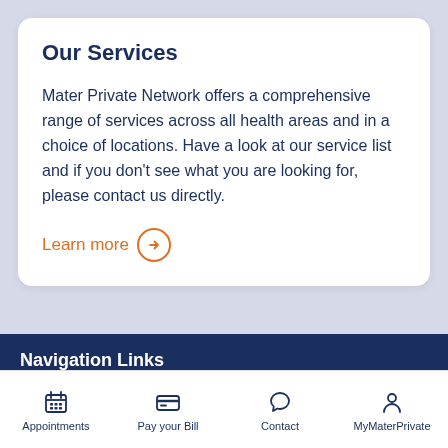Our Services
Mater Private Network offers a comprehensive range of services across all health areas and in a choice of locations. Have a look at our service list and if you don't see what you are looking for, please contact us directly.
Learn more →
Navigation Links
Browse
Appointments | Pay your Bill | Contact | MyMaterPrivate